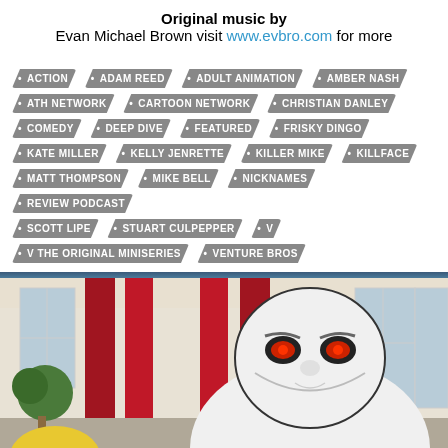Original music by
Evan Michael Brown visit www.evbro.com for more
ACTION
ADAM REED
ADULT ANIMATION
AMBER NASH
ATH NETWORK
CARTOON NETWORK
CHRISTIAN DANLEY
COMEDY
DEEP DIVE
FEATURED
FRISKY DINGO
KATE MILLER
KELLY JENRETTE
KILLER MIKE
KILLFACE
MATT THOMPSON
MIKE BELL
NICKNAMES
REVIEW PODCAST
SCOTT LIPE
STUART CULPEPPER
V
V THE ORIGINAL MINISERIES
VENTURE BROS
[Figure (illustration): Animated cartoon scene showing a white muscular villain character (Killface) with red eyes in the foreground, and an interior room with red curtains, windows, green topiary, and a painting in the background. A yellow-haired character is partially visible at the bottom left.]